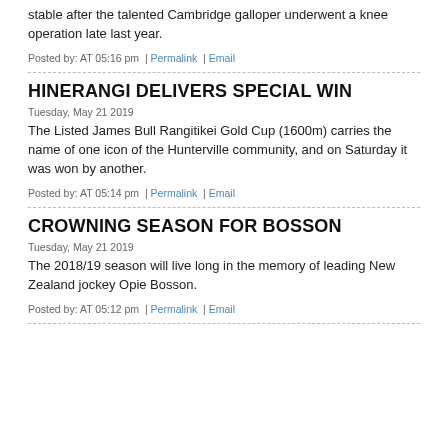stable after the talented Cambridge galloper underwent a knee operation late last year.
Posted by: AT 05:16 pm  |  Permalink  |  Email
HINERANGI DELIVERS SPECIAL WIN
Tuesday, May 21 2019
The Listed James Bull Rangitikei Gold Cup (1600m) carries the name of one icon of the Hunterville community, and on Saturday it was won by another.
Posted by: AT 05:14 pm  |  Permalink  |  Email
CROWNING SEASON FOR BOSSON
Tuesday, May 21 2019
The 2018/19 season will live long in the memory of leading New Zealand jockey Opie Bosson.
Posted by: AT 05:12 pm  |  Permalink  |  Email